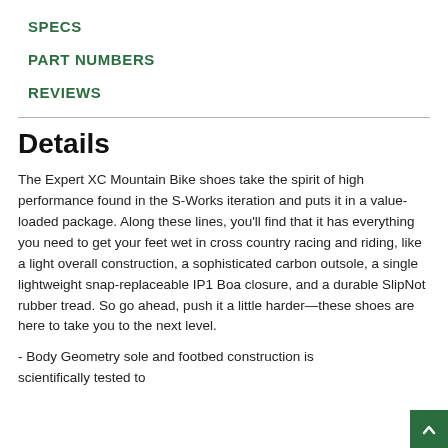SPECS
PART NUMBERS
REVIEWS
Details
The Expert XC Mountain Bike shoes take the spirit of high performance found in the S-Works iteration and puts it in a value-loaded package. Along these lines, you'll find that it has everything you need to get your feet wet in cross country racing and riding, like a light overall construction, a sophisticated carbon outsole, a single lightweight snap-replaceable IP1 Boa closure, and a durable SlipNot rubber tread. So go ahead, push it a little harder—these shoes are here to take you to the next level.
- Body Geometry sole and footbed construction is scientifically tested to...